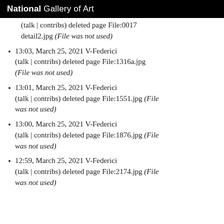National Gallery of Art
(talk | contribs) deleted page File:0017detail2.jpg (File was not used)
13:03, March 25, 2021 V-Federici (talk | contribs) deleted page File:1316a.jpg (File was not used)
13:01, March 25, 2021 V-Federici (talk | contribs) deleted page File:1551.jpg (File was not used)
13:00, March 25, 2021 V-Federici (talk | contribs) deleted page File:1876.jpg (File was not used)
12:59, March 25, 2021 V-Federici (talk | contribs) deleted page File:2174.jpg (File was not used)